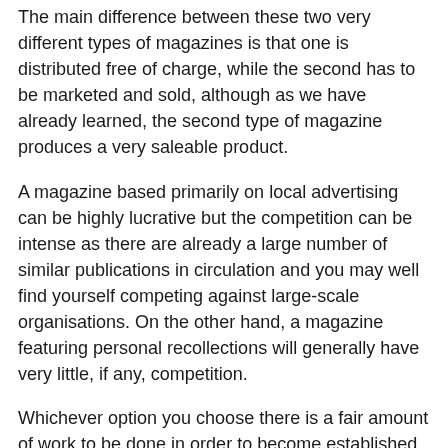The main difference between these two very different types of magazines is that one is distributed free of charge, while the second has to be marketed and sold, although as we have already learned, the second type of magazine produces a very saleable product.
A magazine based primarily on local advertising can be highly lucrative but the competition can be intense as there are already a large number of similar publications in circulation and you may well find yourself competing against large-scale organisations. On the other hand, a magazine featuring personal recollections will generally have very little, if any, competition.
Whichever option you choose there is a fair amount of work to be done in order to become established. You must either contact local businesses and sell your advertising space or you must obtain interesting accounts of your town for publication, both are not that easy to do, the most difficult